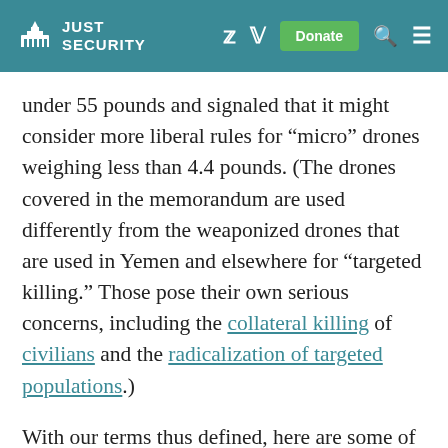JUST SECURITY
under 55 pounds and signaled that it might consider more liberal rules for “micro” drones weighing less than 4.4 pounds. (The drones covered in the memorandum are used differently from the weaponized drones that are used in Yemen and elsewhere for “targeted killing.” Those pose their own serious concerns, including the collateral killing of civilians and the radicalization of targeted populations.)
With our terms thus defined, here are some of the memorandum’s highlights, lowlights, and points in between: